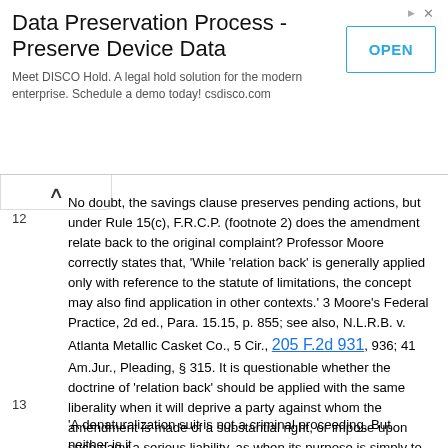[Figure (other): Advertisement banner: 'Data Preservation Process - Preserve Device Data'. Text: 'Meet DISCO Hold. A legal hold solution for the modern enterprise. Schedule a demo today! csdisco.com'. Blue 'OPEN' button on the right.]
12
No doubt, the savings clause preserves pending actions, but under Rule 15(c), F.R.C.P. (footnote 2) does the amendment relate back to the original complaint? Professor Moore correctly states that, 'While 'relation back' is generally applied only with reference to the statute of limitations, the concept may also find application in other contexts.' 3 Moore's Federal Practice, 2d ed., Para. 15.15, p. 855; see also, N.L.R.B. v. Atlanta Metallic Casket Co., 5 Cir., 205 F.2d 931, 936; 41 Am.Jur., Pleading, § 315. It is questionable whether the doctrine of 'relation back' should be applied with the same liberality when it will deprive a party against whom the amendment is made of a substantial right, or impose upon such party a serious liability, as when its purpose is simply to lift the bar of the statute of limitations. See 71 C.J.S., Pleading, § 320(b).
13
'A denaturalization suit is not a criminal proceeding. But neither is it